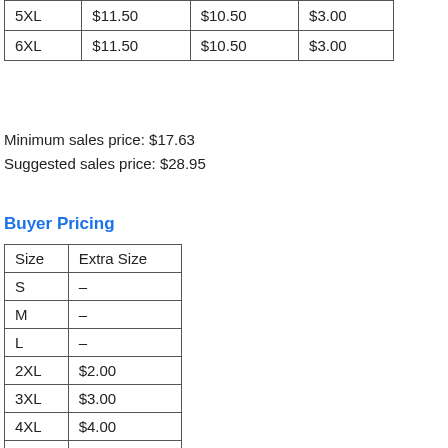| 5XL | $11.50 | $10.50 | $3.00 |
| 6XL | $11.50 | $10.50 | $3.00 |
Minimum sales price: $17.63
Suggested sales price: $28.95
Buyer Pricing
| Size | Extra Size |
| --- | --- |
| S | – |
| M | – |
| L | – |
| 2XL | $2.00 |
| 3XL | $3.00 |
| 4XL | $4.00 |
| 5XL | $5.00 |
| 6XL | $6.00 |